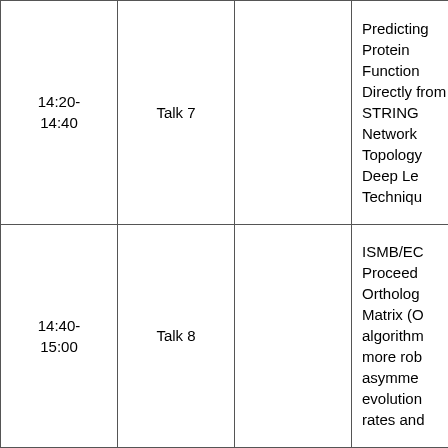| Time | Talk | Track | Title |
| --- | --- | --- | --- |
| 14:20-14:40 | Talk 7 |  | Predicting Protein Function Directly from STRING Network Topology Deep Learning Techniques |
| 14:40-15:00 | Talk 8 |  | ISMB/ECCB Proceedings Orthologous Matrix (OMA) algorithm more robust asymmetric evolutionary rates and |